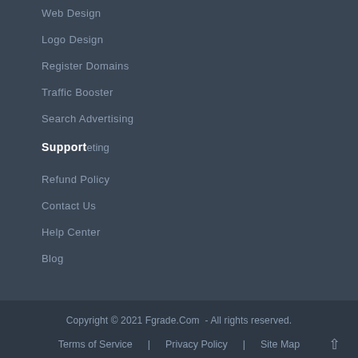Web Design
Logo Design
Register Domains
Traffic Booster
Search Advertising
Support
eting
Refund Policy
Contact Us
Help Center
Blog
Copyright © 2021 Fgrade.Com  - All rights reserved.
Terms of Service  |  Privacy Policy  |  Site Map